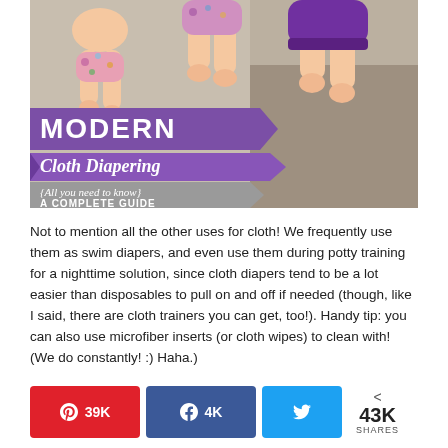[Figure (photo): Photo of three babies/toddlers lying down wearing cloth diapers (one floral print, one purple). Overlaid with purple banner text reading 'MODERN Cloth Diapering {All you need to know} A COMPLETE GUIDE'.]
Not to mention all the other uses for cloth! We frequently use them as swim diapers, and even use them during potty training for a nighttime solution, since cloth diapers tend to be a lot easier than disposables to pull on and off if needed (though, like I said, there are cloth trainers you can get, too!). Handy tip: you can also use microfiber inserts (or cloth wipes) to clean with! (We do constantly! :) Haha.)
[Figure (infographic): Social share bar with Pinterest button showing 39K, Facebook button showing 4K, Twitter button, and total share count of 43K SHARES.]